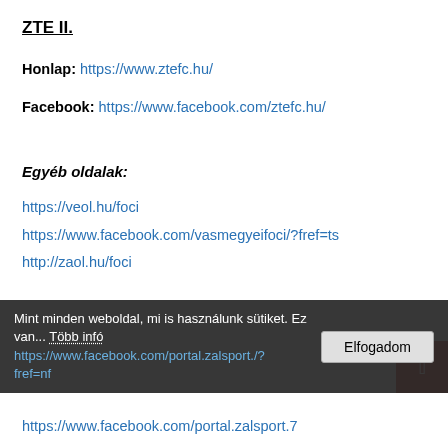ZTE II.
Honlap: https://www.ztefc.hu/
Facebook: https://www.facebook.com/ztefc.hu/
Egyéb oldalak:
https://veol.hu/foci
https://www.facebook.com/vasmegyeifoci/?fref=ts
http://zaol.hu/foci
https://www.facebook.com/portal.zalsport.7